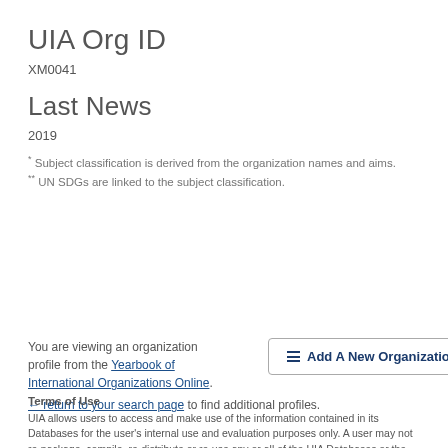UIA Org ID
XM0041
Last News
2019
* Subject classification is derived from the organization names and aims.
** UN SDGs are linked to the subject classification.
You are viewing an organization profile from the Yearbook of International Organizations Online. ← return to your search page to find additional profiles.
Add A New Organization
Terms of Use
UIA allows users to access and make use of the information contained in its Databases for the user's internal use and evaluation purposes only. A user may not re-package, compile, re-distribute or re-use any or all of the UIA Databases or the data* contained therein without prior permission from the UIA.